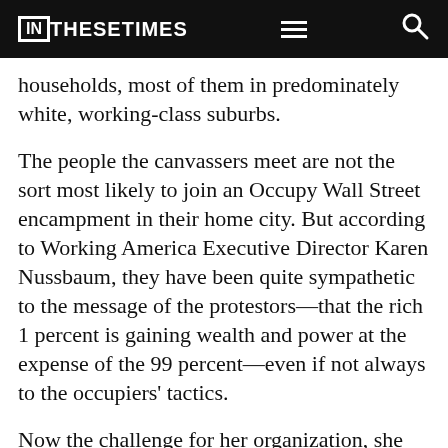IN THESE TIMES
households, most of them in predominately white, working-class suburbs.
The people the canvassers meet are not the sort most likely to join an Occupy Wall Street encampment in their home city. But according to Working America Executive Director Karen Nussbaum, they have been quite sympathetic to the message of the protestors—that the rich 1 percent is gaining wealth and power at the expense of the 99 percent—even if not always to the occupiers' tactics.
Now the challenge for her organization, she says, is to give Working America members a way that's comfortable for them to express their sentiments